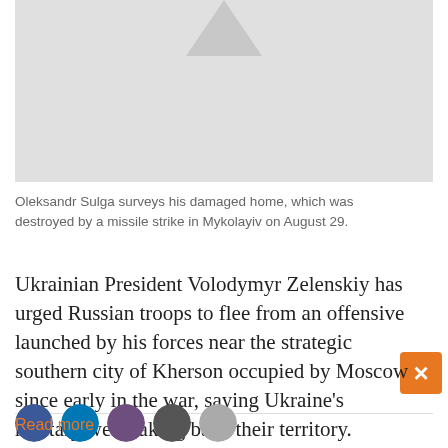[Figure (photo): Partial photo of Oleksandr Sulga surveying his damaged home destroyed by a missile strike in Mykolayiv on August 29. Light gray background with a triangular arrow shape visible at top center.]
Oleksandr Sulga surveys his damaged home, which was destroyed by a missile strike in Mykolayiv on August 29.
Ukrainian President Volodymyr Zelenskiy has urged Russian troops to flee from an offensive launched by his forces near the strategic southern city of Kherson occupied by Moscow since early in the war, saying Ukraine's military were taking back their territory.
Read more